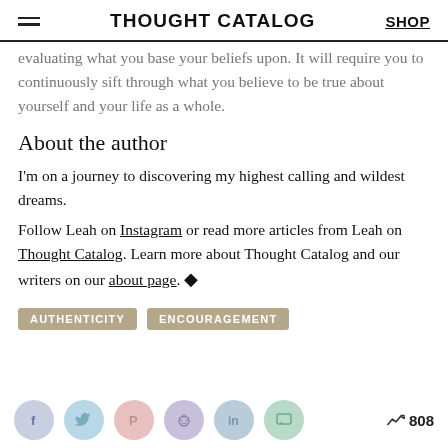THOUGHT CATALOG  SHOP
evaluating what you base your beliefs upon. It will require you to continuously sift through what you believe to be true about yourself and your life as a whole.
About the author
I'm on a journey to discovering my highest calling and wildest dreams.
Follow Leah on Instagram or read more articles from Leah on Thought Catalog. Learn more about Thought Catalog and our writers on our about page. ◆
AUTHENTICITY
ENCOURAGEMENT
[Figure (infographic): Social share icons: Facebook (blue), Twitter (light blue), Pinterest (pink), Reddit (purple), LinkedIn (blue-grey), Messages (green), and a trending arrow with 808]